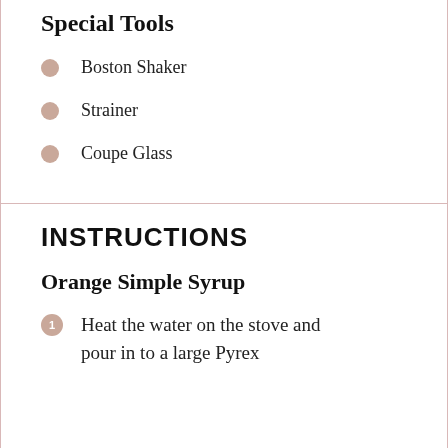Special Tools
Boston Shaker
Strainer
Coupe Glass
INSTRUCTIONS
Orange Simple Syrup
Heat the water on the stove and pour in to a large Pyrex